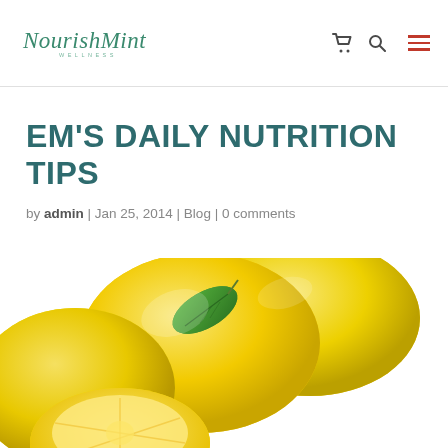NourishMint Wellness logo with cart, search, and menu icons
EM'S DAILY NUTRITION TIPS
by admin | Jan 25, 2014 | Blog | 0 comments
[Figure (photo): Close-up photograph of bright yellow lemons with a green leaf on top, one lemon cut in half visible at bottom left]